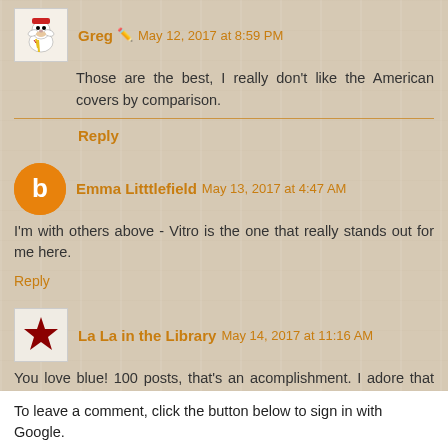Greg • May 12, 2017 at 8:59 PM
Those are the best, I really don't like the American covers by comparison.
Reply
Emma Litttlefield May 13, 2017 at 4:47 AM
I'm with others above - Vitro is the one that really stands out for me here.
Reply
La La in the Library May 14, 2017 at 11:16 AM
You love blue! 100 posts, that's an acomplishment. I adore that version of Long Way, too. :)
Reply
To leave a comment, click the button below to sign in with Google.